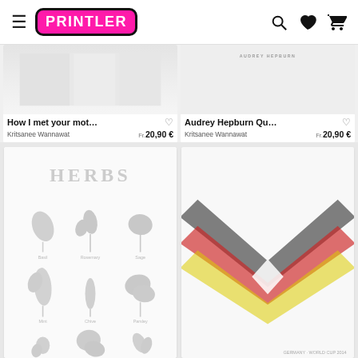PRINTLER
[Figure (screenshot): Partial product card top: How I met your mot... by Kritsanee Wannawat, Fr. 20,90 €]
[Figure (screenshot): Partial product card top: Audrey Hepburn Qu... by Kritsanee Wannawat, Fr. 20,90 €]
[Figure (illustration): Herbs botanical poster with herb leaf illustrations arranged in a 3x3 grid, title HERBS at top]
[Figure (illustration): Germany World Cup poster with chevron/ribbon design in German flag colors black red yellow, small text at bottom right]